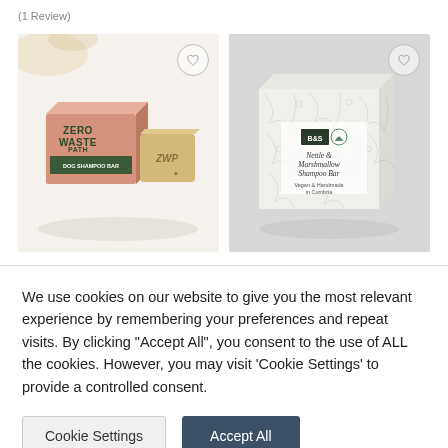(1 Review)
[Figure (photo): Zero Waste Path dog shampoo bar product photo showing pink box and bar of soap on white background]
[Figure (photo): B&S Nettle & Marshmallow Shampoo Bar in decorative botanical-print box, Vegan & Handmade in Cumbria]
We use cookies on our website to give you the most relevant experience by remembering your preferences and repeat visits. By clicking "Accept All", you consent to the use of ALL the cookies. However, you may visit 'Cookie Settings' to provide a controlled consent.
Cookie Settings
Accept All